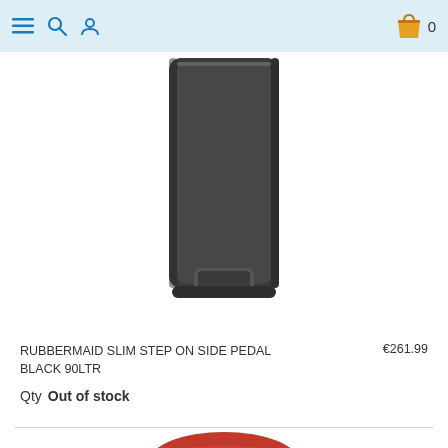[Figure (screenshot): Top navigation bar with hamburger menu icon, search icon, user icon on the left, and shopping bag icon with '0' on the right, on a light blue background]
[Figure (photo): Dark grey/black rectangular step-on bin (Rubbermaid Slim Step On Side Pedal Black 90LTR), showing the lower portion with foot pedal]
RUBBERMAID SLIM STEP ON SIDE PEDAL BLACK 90LTR €261.99
Qty Out of stock
[Figure (photo): Red step-on bin (partial view from top), showing the rounded red lid with a small chrome handle, partially visible]